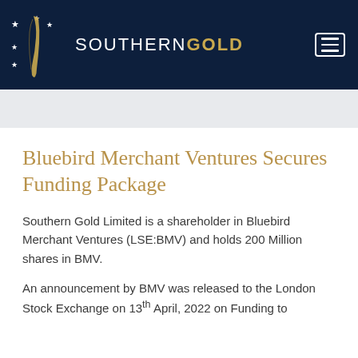SOUTHERN GOLD
Bluebird Merchant Ventures Secures Funding Package
Southern Gold Limited is a shareholder in Bluebird Merchant Ventures (LSE:BMV) and holds 200 Million shares in BMV.
An announcement by BMV was released to the London Stock Exchange on 13th April, 2022 on Funding to